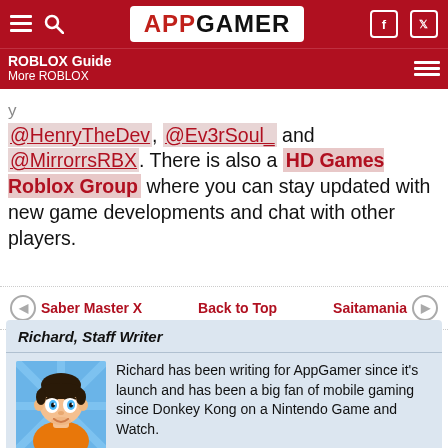APP GAMER | ROBLOX Guide | More ROBLOX
@HenryTheDev, @Ev3rSoul_ and @MirrorrsRBX. There is also a HD Games Roblox Group where you can stay updated with new game developments and chat with other players.
Saber Master X | Back to Top | Saitamania
Richard, Staff Writer
Richard has been writing for AppGamer since it's launch and has been a big fan of mobile gaming since Donkey Kong on a Nintendo Game and Watch.